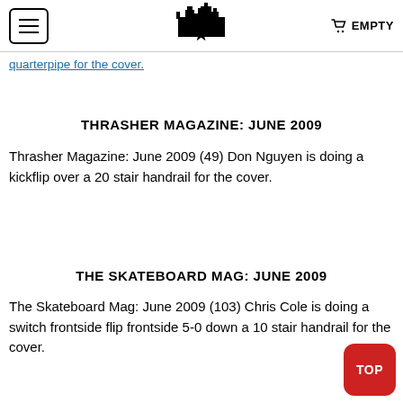EMPTY
quarterpipe for the cover.
THRASHER MAGAZINE: JUNE 2009
Thrasher Magazine: June 2009 (49) Don Nguyen is doing a kickflip over a 20 stair handrail for the cover.
THE SKATEBOARD MAG: JUNE 2009
The Skateboard Mag: June 2009 (103) Chris Cole is doing a switch frontside flip frontside 5-0 down a 10 stair handrail for the cover.